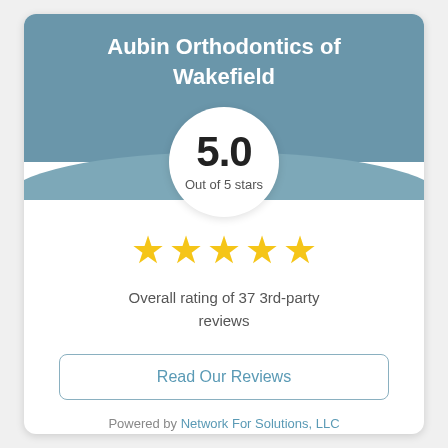Aubin Orthodontics of Wakefield
[Figure (infographic): Rating widget showing 5.0 out of 5 stars with five gold stars and review count]
5.0
Out of 5 stars
Overall rating of 37 3rd-party reviews
Read Our Reviews
Powered by Network For Solutions, LLC